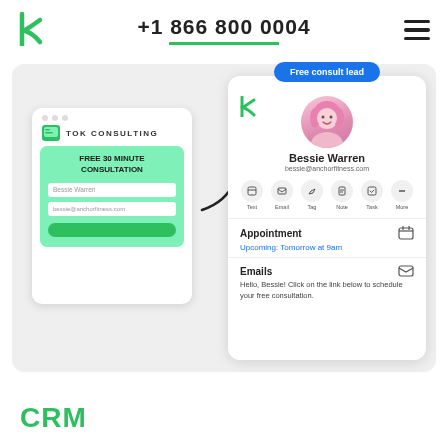+1 866 800 0004
[Figure (screenshot): Marketing CRM screenshot showing a web form for 'TOK Consulting Free 30 Minute Consultation' on the left with fields for Bessie Warren and bessie@anchorfitness.com, an arrow pointing to a CRM contact card on the right labeled 'Free consult lead' showing Bessie Warren's profile with appointment and email details.]
CRM